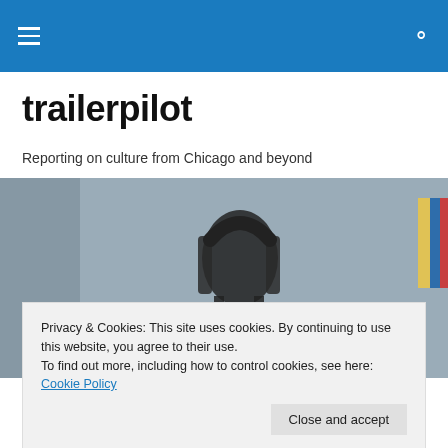trailerpilot — navigation bar
trailerpilot
Reporting on culture from Chicago and beyond
[Figure (photo): Blurry close-up photograph of a dark metal chair or furniture piece against a light background with some colorful items visible on the right edge.]
Privacy & Cookies: This site uses cookies. By continuing to use this website, you agree to their use.
To find out more, including how to control cookies, see here: Cookie Policy
Close and accept
College Chicago announces